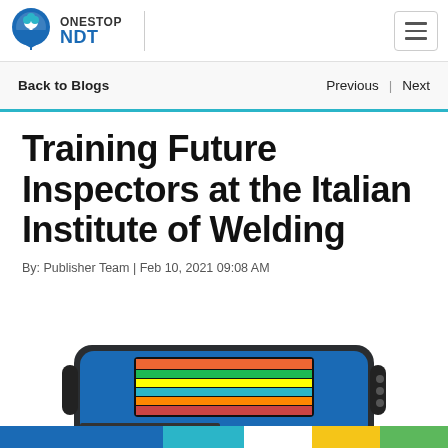ONESTOP NDT
Back to Blogs    Previous  |  Next
Training Future Inspectors at the Italian Institute of Welding
By: Publisher Team | Feb 10, 2021 09:08 AM
[Figure (photo): OmniScan X3 phased array ultrasonic testing device, a blue and black handheld instrument with a screen showing colorful scan data]